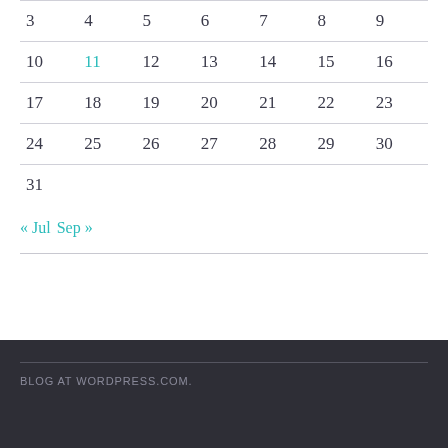| 3 | 4 | 5 | 6 | 7 | 8 | 9 |
| 10 | 11 | 12 | 13 | 14 | 15 | 16 |
| 17 | 18 | 19 | 20 | 21 | 22 | 23 |
| 24 | 25 | 26 | 27 | 28 | 29 | 30 |
| 31 |  |  |  |  |  |  |
« Jul  Sep »
BLOG AT WORDPRESS.COM.